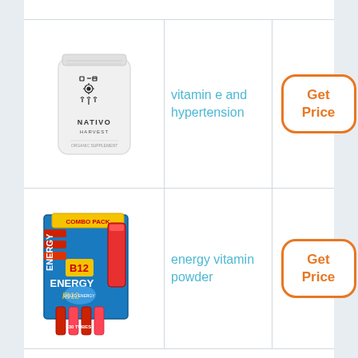[Figure (photo): Nativo Harvest white powder supplement bag product image]
vitamin e and hypertension
Get Price
[Figure (photo): Energy B12 combo pack vitamin powder tubes product image]
energy vitamin powder
Get Price